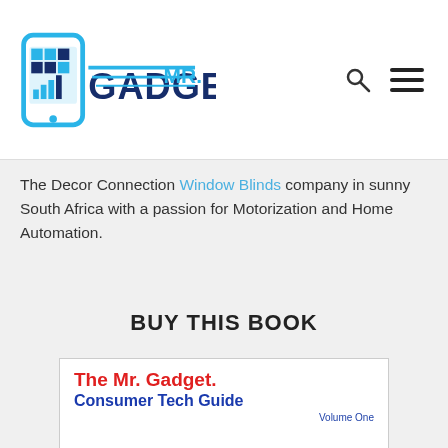[Figure (logo): Mr. Gadget logo with smartphone icon and text 'MR. GADGET' in dark and blue colors]
The Decor Connection Window Blinds company in sunny South Africa with a passion for Motorization and Home Automation.
BUY THIS BOOK
[Figure (photo): Book cover of 'The Mr. Gadget. Consumer Tech Guide Volume One' showing a man with glasses pointing upward with both index fingers, smiling]